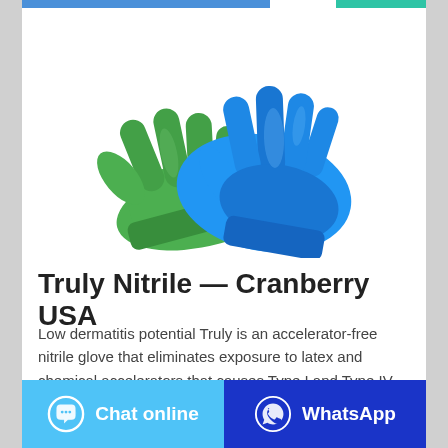[Figure (photo): Two nitrile examination gloves, one green and one blue, overlapping on a white background.]
Truly Nitrile — Cranberry USA
Low dermatitis potential Truly is an accelerator-free nitrile glove that eliminates exposure to latex and chemical accelerators that causes Type I and Type IV allergic reactions. 5 Assurance Tests